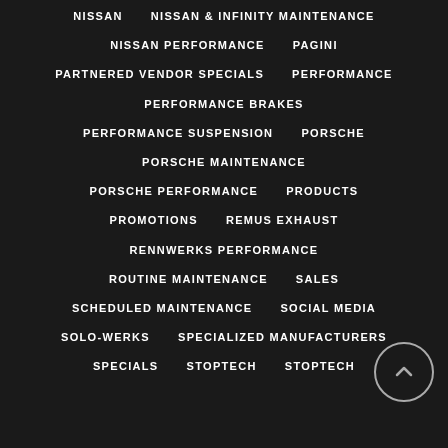NISSAN
NISSAN & INFINITY MAINTENANCE
NISSAN PERFORMANCE
PAGINI
PARTNERED VENDOR SPECIALS
PERFORMANCE
PERFORMANCE BRAKES
PERFORMANCE SUSPENSION
PORSCHE
PORSCHE MAINTENANCE
PORSCHE PERFORMANCE
PRODUCTS
PROMOTIONS
REMUS EXHAUST
RENNWERKS PERFORMANCE
ROUTINE MAINTENANCE
SALES
SCHEDULED MAINTENANCE
SOCIAL MEDIA
SOLO-WERKS
SPECIALIZED MANUFACTURERS
SPECIALS
STOPTECH
STOPTECH